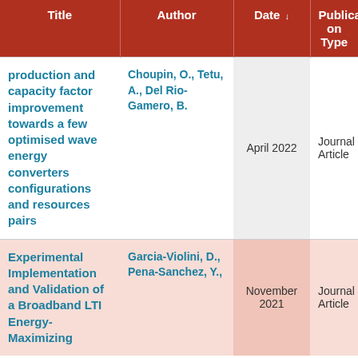| Title | Author | Date ↓ | Publication Type |
| --- | --- | --- | --- |
| production and capacity factor improvement towards a few optimised wave energy converters configurations and resources pairs | Choupin, O., Tetu, A., Del Rio-Gamero, B. | April 2022 | Journal Article |
| Experimental Implementation and Validation of a Broadband LTI Energy-Maximizing | Garcia-Violini, D., Pena-Sanchez, Y., | November 2021 | Journal Article |